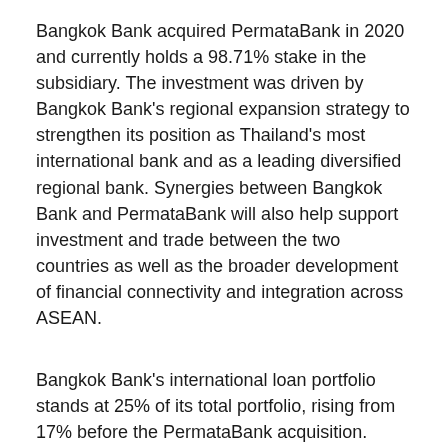Bangkok Bank acquired PermataBank in 2020 and currently holds a 98.71% stake in the subsidiary. The investment was driven by Bangkok Bank's regional expansion strategy to strengthen its position as Thailand's most international bank and as a leading diversified regional bank. Synergies between Bangkok Bank and PermataBank will also help support investment and trade between the two countries as well as the broader development of financial connectivity and integration across ASEAN.
Bangkok Bank's international loan portfolio stands at 25% of its total portfolio, rising from 17% before the PermataBank acquisition.
Source link